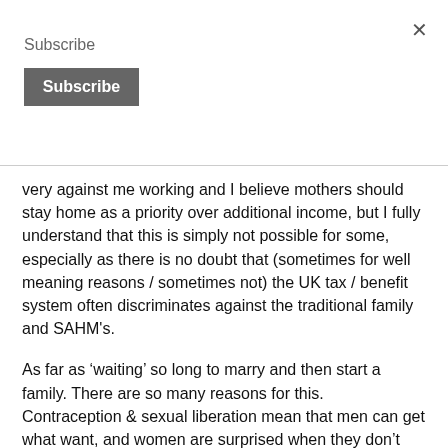Subscribe
Subscribe (button)
very against me working and I believe mothers should stay home as a priority over additional income, but I fully understand that this is simply not possible for some, especially as there is no doubt that (sometimes for well meaning reasons / sometimes not) the UK tax / benefit system often discriminates against the traditional family and SAHM's.
As far as ‘waiting’ so long to marry and then start a family. There are so many reasons for this. Contraception & sexual liberation mean that men can get what want, and women are surprised when they don't comit. Men are